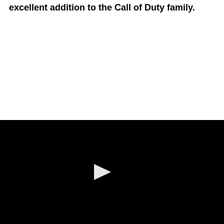excellent addition to the Call of Duty family.
[Figure (screenshot): Black video player area with a white play button triangle in the center]